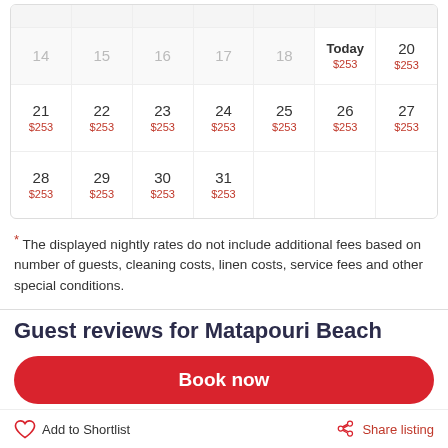| 14 | 15 | 16 | 17 | 18 | Today $253 | 20 $253 |
| 21 $253 | 22 $253 | 23 $253 | 24 $253 | 25 $253 | 26 $253 | 27 $253 |
| 28 $253 | 29 $253 | 30 $253 | 31 $253 |  |  |  |
* The displayed nightly rates do not include additional fees based on number of guests, cleaning costs, linen costs, service fees and other special conditions.
Guest reviews for Matapouri Beach
Book now
Add to Shortlist
Share listing